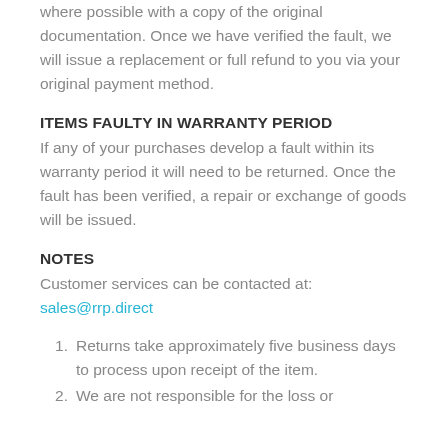where possible with a copy of the original documentation. Once we have verified the fault, we will issue a replacement or full refund to you via your original payment method.
ITEMS FAULTY IN WARRANTY PERIOD
If any of your purchases develop a fault within its warranty period it will need to be returned. Once the fault has been verified, a repair or exchange of goods will be issued.
NOTES
Customer services can be contacted at: sales@rrp.direct
Returns take approximately five business days to process upon receipt of the item.
We are not responsible for the loss or